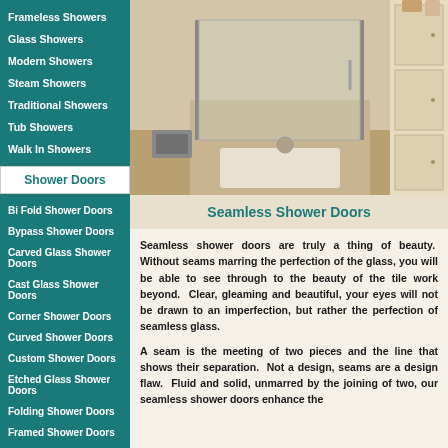Frameless Showers
Glass Showers
Modern Showers
Steam Showers
Traditional Showers
Tub Showers
Walk In Showers
Shower Doors
[Figure (photo): Photo of a frameless glass shower enclosure in a beige tiled bathroom with white cabinetry visible in background]
Seamless Shower Doors
Seamless shower doors are truly a thing of beauty. Without seams marring the perfection of the glass, you will be able to see through to the beauty of the tile work beyond. Clear, gleaming and beautiful, your eyes will not be drawn to an imperfection, but rather the perfection of seamless glass.
A seam is the meeting of two pieces and the line that shows their separation. Not a design, seams are a design flaw. Fluid and solid, unmarred by the joining of two, our seamless shower doors enhance the
Bi Fold Shower Doors
Bypass Shower Doors
Carved Glass Shower Doors
Cast Glass Shower Doors
Corner Shower Doors
Curved Shower Doors
Custom Shower Doors
Etched Glass Shower Doors
Folding Shower Doors
Framed Shower Doors
Frameless Shower Doors